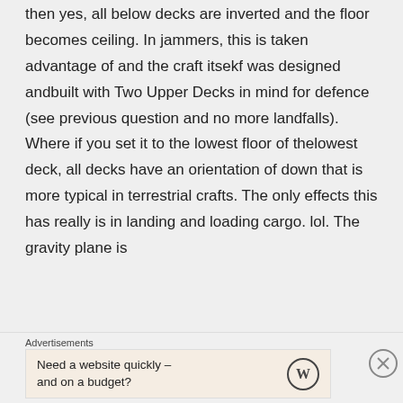then yes, all below decks are inverted and the floor becomes ceiling. In jammers, this is taken advantage of and the craft itsekf was designed andbuilt with Two Upper Decks in mind for defence (see previous question and no more landfalls). Where if you set it to the lowest floor of thelowest deck, all decks have an orientation of down that is more typical in terrestrial crafts. The only effects this has really is in landing and loading cargo. lol. The gravity plane is
Advertisements
Need a website quickly – and on a budget?